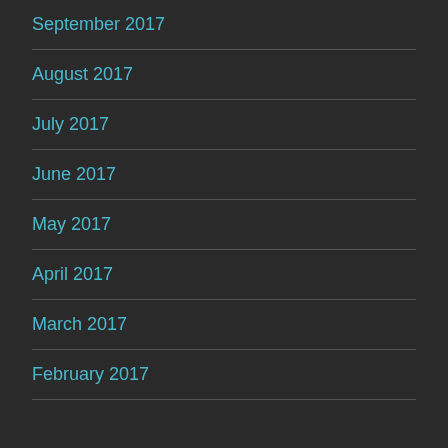September 2017
August 2017
July 2017
June 2017
May 2017
April 2017
March 2017
February 2017